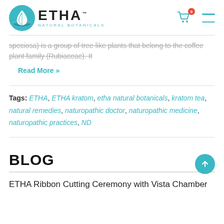[Figure (logo): ETHA Natural Botanicals logo with teal circular emblem and wordmark]
speciosa) is a group of tree like plants that belong to the coffee plant family (Rubiaceae). It
Read More »
Tags: ETHA, ETHA kratom, etha natural botanicals, kratom tea, natural remedies, naturopathic doctor, naturopathic medicine, naturopathic practices, ND
BLOG
ETHA Ribbon Cutting Ceremony with Vista Chamber